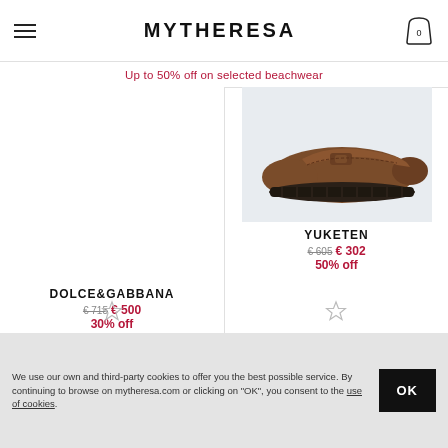MYTHERESA
Up to 50% off on selected beachwear
[Figure (photo): Brown leather loafer shoe with chunky dark sole from YUKETEN, displayed on light grey background]
DOLCE&GABBANA
€ 715  € 500
30% off
YUKETEN
€ 605  € 302
50% off
We use our own and third-party cookies to offer you the best possible service. By continuing to browse on mytheresa.com or clicking on "OK", you consent to the use of cookies.